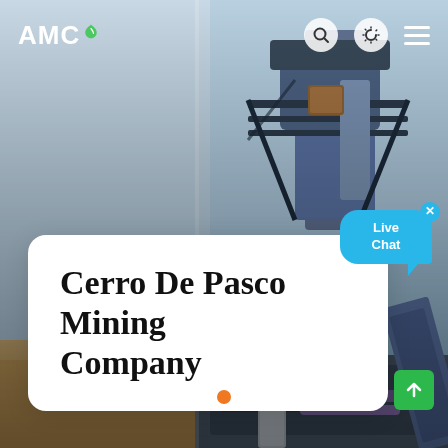[Figure (screenshot): Website screenshot of AMC mining consultants page showing the Cerro De Pasco Mining Company project. Background shows composite of mining workers in hard hats and industrial mining equipment/conveyor structures. Navigation bar at top with AMC logo, search, dark mode, and menu icons. White card overlays the center with the project title. Live Chat bubble in teal appears top-right of card. Green scroll-to-top button at bottom right. Carousel dots at bottom center.]
AMC
Cerro De Pasco Mining Company